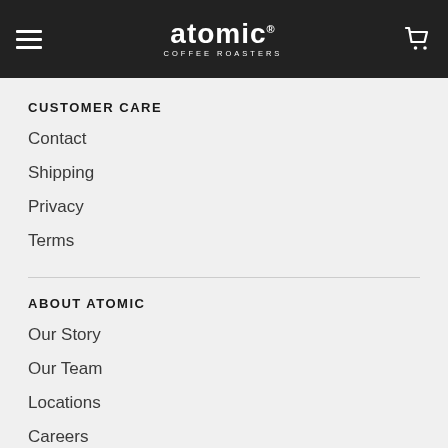atomic COFFEE ROASTERS
CUSTOMER CARE
Contact
Shipping
Privacy
Terms
ABOUT ATOMIC
Our Story
Our Team
Locations
Careers
Social